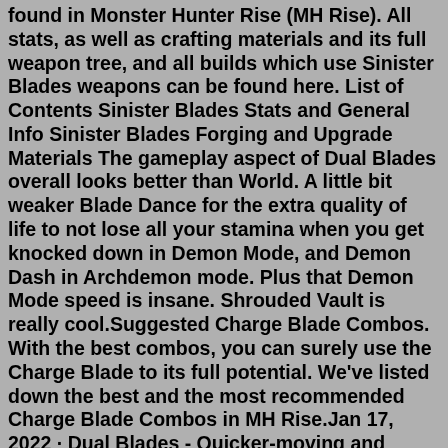found in Monster Hunter Rise (MH Rise). All stats, as well as crafting materials and its full weapon tree, and all builds which use Sinister Blades weapons can be found here. List of Contents Sinister Blades Stats and General Info Sinister Blades Forging and Upgrade Materials The gameplay aspect of Dual Blades overall looks better than World. A little bit weaker Blade Dance for the extra quality of life to not lose all your stamina when you get knocked down in Demon Mode, and Demon Dash in Archdemon mode. Plus that Demon Mode speed is insane. Shrouded Vault is really cool.Suggested Charge Blade Combos. With the best combos, you can surely use the Charge Blade to its full potential. We've listed down the best and the most recommended Charge Blade Combos in MH Rise.Jan 17, 2022 · Dual Blades - Quicker-moving and faster ... Best light bowgun in Monster Hunter Rise. Sinister Shadow Bolt ... Flash in the Night is one of the stronger sword and shield sets in MH Rise, ... This is a guide to the best builds and equipment for Hunting Horns in Monster Hunter Rise ( MH Rise ) for the